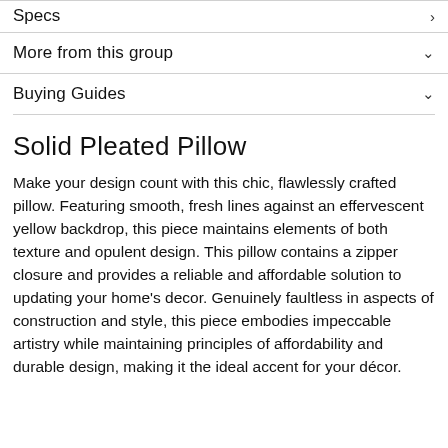Specs
More from this group
Buying Guides
Solid Pleated Pillow
Make your design count with this chic, flawlessly crafted pillow. Featuring smooth, fresh lines against an effervescent yellow backdrop, this piece maintains elements of both texture and opulent design. This pillow contains a zipper closure and provides a reliable and affordable solution to updating your home's decor. Genuinely faultless in aspects of construction and style, this piece embodies impeccable artistry while maintaining principles of affordability and durable design, making it the ideal accent for your décor.